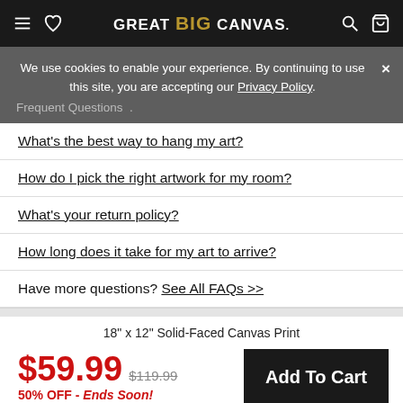GREAT BIG CANVAS.
We use cookies to enable your experience. By continuing to use this site, you are accepting our Privacy Policy.
Frequent Questions
What's the best way to hang my art?
How do I pick the right artwork for my room?
What's your return policy?
How long does it take for my art to arrive?
Have more questions? See All FAQs >>
18" x 12" Solid-Faced Canvas Print
$59.99 $119.99 50% OFF - Ends Soon!
Add To Cart